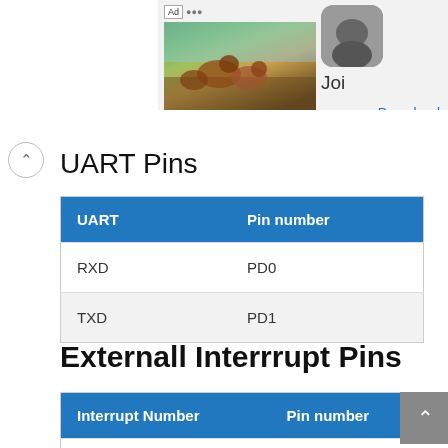[Figure (screenshot): Advertisement banner showing wolves/animals game app with Download link and 'Joi' text]
UART Pins
| UART | Pin number |
| --- | --- |
| RXD | PD0 |
| TXD | PD1 |
Externall Interrrupt Pins
| Interrupt Number | Pin number |
| --- | --- |
| INT0 | PD3 |